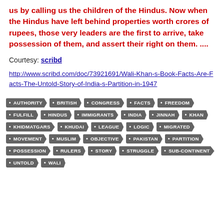us by calling us the children of the Hindus. Now when the Hindus have left behind properties worth crores of rupees, those very leaders are the first to arrive, take possession of them, and assert their right on them. ....
Courtesy: scribd
http://www.scribd.com/doc/73921691/Wali-Khan-s-Book-Facts-Are-Facts-The-Untold-Story-of-India-s-Partition-in-1947
AUTHORITY
BRITISH
CONGRESS
FACTS
FREEDOM
FULFILL
HINDUS
IMMIGRANTS
INDIA
JINNAH
KHAN
KHIDMATGARS
KHUDAI
LEAGUE
LOGIC
MIGRATED
MOVEMENT
MUSLIM
OBJECTIVE
PAKISTAN
PARTITION
POSSESSION
RULERS
STORY
STRUGGLE
SUB-CONTINENT
UNTOLD
WALI